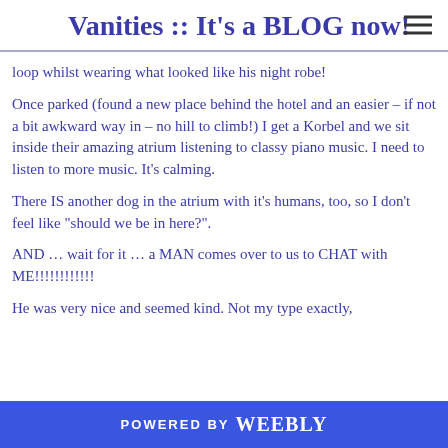Vanities :: It's a BLOG now!
loop whilst wearing what looked like his night robe!
Once parked (found a new place behind the hotel and an easier – if not a bit awkward way in – no hill to climb!) I get a Korbel and we sit inside their amazing atrium listening to classy piano music. I need to listen to more music. It's calming.
There IS another dog in the atrium with it's humans, too, so I don't feel like "should we be in here?".
AND … wait for it … a MAN comes over to us to CHAT with ME!!!!!!!!!!!
He was very nice and seemed kind. Not my type exactly,
POWERED BY weebly